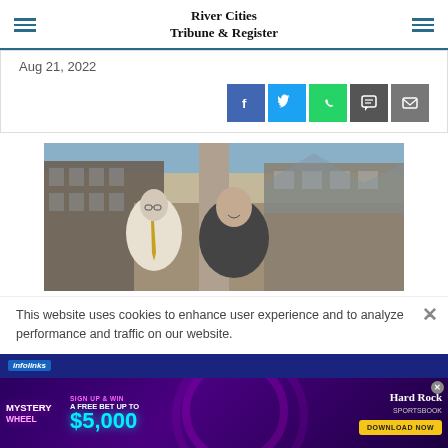River Cities Tribune & Register
Aug 21, 2022
[Figure (photo): Two men on a rooftop or balcony overlooking a cityscape with apartment buildings and mountains in the background. One man wears a white shirt with a gold tie, the other a dark shirt.]
This website uses cookies to enhance user experience and to analyze performance and traffic on our website.
[Figure (infographic): Hard Rock Sportsbook advertisement: Mystery Wheel - Sign Up & Win A Free Bet Up To $5,000. Download Now button. Fine print text at bottom.]